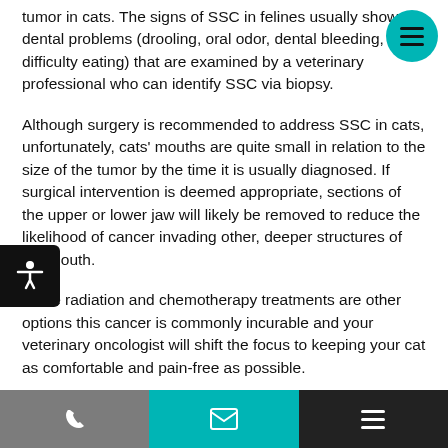tumor in cats. The signs of SSC in felines usually show as dental problems (drooling, oral odor, dental bleeding, difficulty eating) that are examined by a veterinary professional who can identify SSC via biopsy.
Although surgery is recommended to address SSC in cats, unfortunately, cats' mouths are quite small in relation to the size of the tumor by the time it is usually diagnosed. If surgical intervention is deemed appropriate, sections of the upper or lower jaw will likely be removed to reduce the likelihood of cancer invading other, deeper structures of the mouth.
While radiation and chemotherapy treatments are other options this cancer is commonly incurable and your veterinary oncologist will shift the focus to keeping your cat as comfortable and pain-free as possible.
[Figure (other): Teal circular hamburger menu button in top right corner]
[Figure (other): Black rounded accessibility icon button on the left side]
[Figure (other): Bottom navigation bar with three sections: phone icon (gray), email icon (teal), menu icon (dark)]